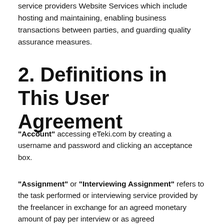service providers Website Services which include hosting and maintaining, enabling business transactions between parties, and guarding quality assurance measures.
2. Definitions in This User Agreement
“Account” accessing eTeki.com by creating a username and password and clicking an acceptance box.
“Assignment” or “Interviewing Assignment” refers to the task performed or interviewing service provided by the freelancer in exchange for an agreed monetary amount of pay per interview or as agreed